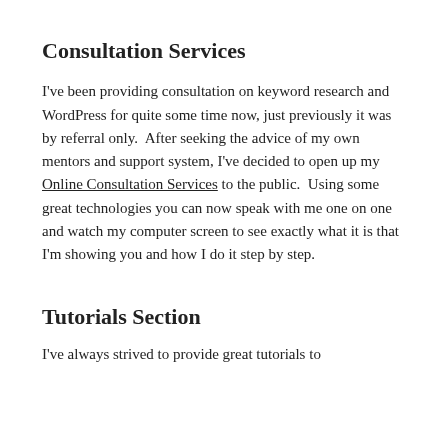Consultation Services
I've been providing consultation on keyword research and WordPress for quite some time now, just previously it was by referral only.  After seeking the advice of my own mentors and support system, I've decided to open up my Online Consultation Services to the public.  Using some great technologies you can now speak with me one on one and watch my computer screen to see exactly what it is that I'm showing you and how I do it step by step.
Tutorials Section
I've always strived to provide great tutorials to...